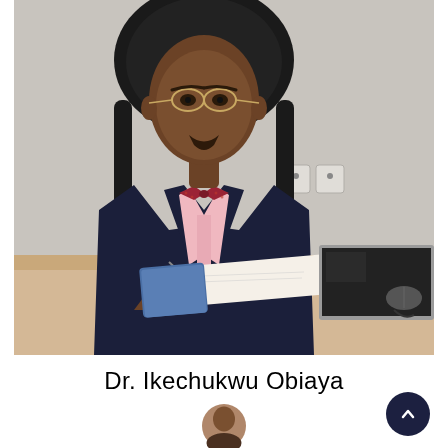[Figure (photo): Professional photo of Dr. Ikechukwu Obiaya seated at a desk wearing a navy suit, pink shirt, and red bow tie with glasses, writing in a notebook, with a laptop visible on the right side of the desk.]
Dr. Ikechukwu Obiaya
[Figure (photo): Partial circular avatar photo showing the top of a person's head, cropped at the bottom of the page.]